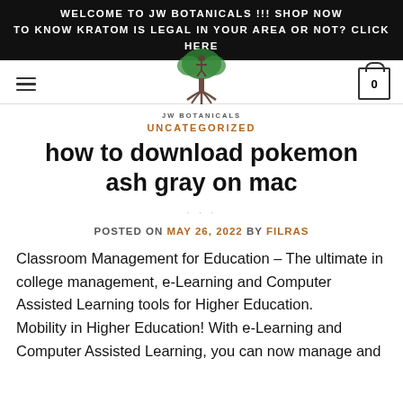WELCOME TO JW BOTANICALS !!! SHOP NOW
TO KNOW KRATOM IS LEGAL IN YOUR AREA OR NOT? CLICK HERE
[Figure (logo): JW Botanicals logo: stylized tree with person figure, roots, and text JW BOTANICALS beneath]
UNCATEGORIZED
how to download pokemon ash gray on mac
POSTED ON MAY 26, 2022 BY FILRAS
Classroom Management for Education – The ultimate in college management, e-Learning and Computer Assisted Learning tools for Higher Education.
Mobility in Higher Education! With e-Learning and Computer Assisted Learning, you can now manage and